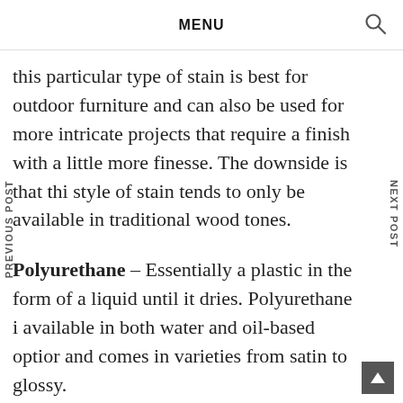MENU
this particular type of stain is best for outdoor furniture and can also be used for more intricate projects that require a finish with a little more finesse. The downside is that this style of stain tends to only be available in traditional wood tones.
Polyurethane – Essentially a plastic in the form of a liquid until it dries. Polyurethane is available in both water and oil-based options and comes in varieties from satin to glossy.
Water-based polyurethane is low odour and low toxicity making it the most popular. When applied it goes on without adding any colour